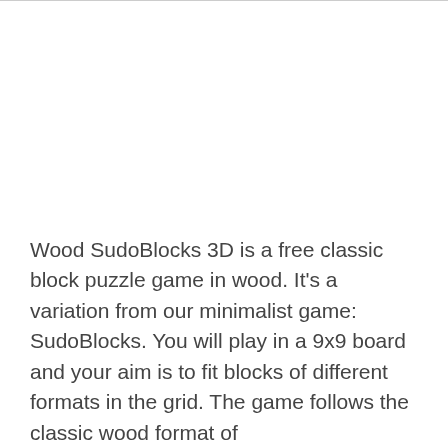Wood SudoBlocks 3D is a free classic block puzzle game in wood. It's a variation from our minimalist game: SudoBlocks. You will play in a 9x9 board and your aim is to fit blocks of different formats in the grid. The game follows the classic wood format of